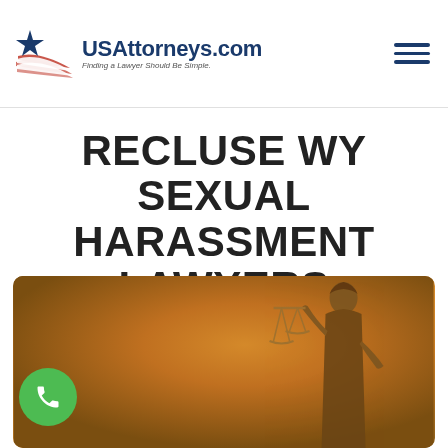USAttorneys.com — Finding a Lawyer Should Be Simple.
RECLUSE WY SEXUAL HARASSMENT LAWYERS
[Figure (photo): Lady Justice bronze statue holding scales of justice against an orange/amber background, with a green phone call button in the bottom-left corner]